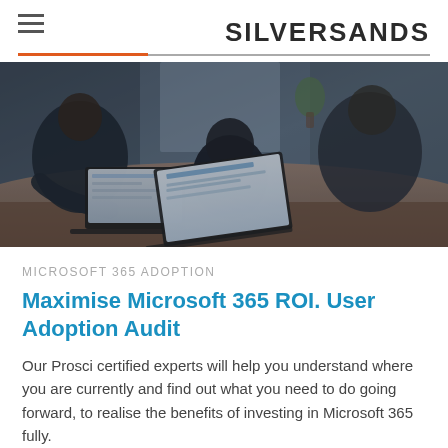SILVERSANDS
[Figure (photo): Office scene with people working on laptops around a table, viewed from above/side angle, dark moody lighting]
MICROSOFT 365 ADOPTION
Maximise Microsoft 365 ROI. User Adoption Audit
Our Prosci certified experts will help you understand where you are currently and find out what you need to do going forward, to realise the benefits of investing in Microsoft 365 fully.